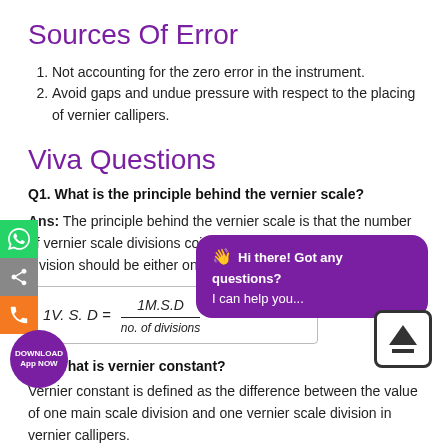Sources Of Error
Not accounting for the zero error in the instrument.
Avoid gaps and undue pressure with respect to the placing of vernier callipers.
Viva Questions
Q1. What is the principle behind the vernier scale?
Ans: The principle behind the vernier scale is that the number of vernier scale divisions coinciding with the main scale division should be either one less or one more.
Q2. What is vernier constant?
Vernier constant is defined as the difference between the value of one main scale division and one vernier scale division in vernier callipers.
Q3. What is the least count of a measuring instrument?